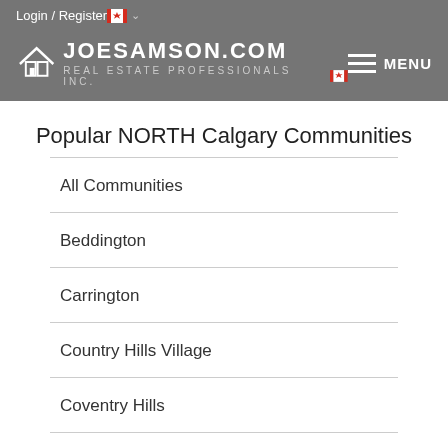Login / Register
[Figure (logo): JoeSamson.com Real Estate Professionals Inc. logo with house icon and Canadian flag]
Popular NORTH Calgary Communities
All Communities
Beddington
Carrington
Country Hills Village
Coventry Hills
Evanston